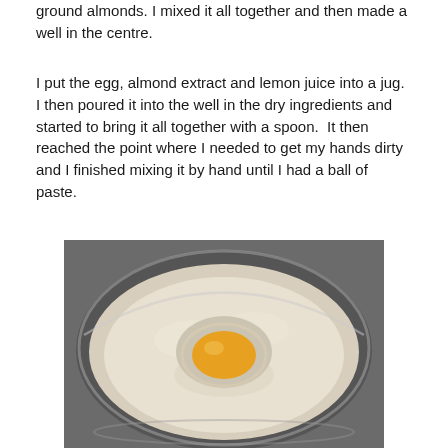ground almonds. I mixed it all together and then made a well in the centre.
I put the egg, almond extract and lemon juice into a jug.  I then poured it into the well in the dry ingredients and started to bring it all together with a spoon.  It then reached the point where I needed to get my hands dirty and I finished mixing it by hand until I had a ball of paste.
[Figure (photo): A glass bowl viewed from above containing a mound of pale flour/ground almonds mixture with a well in the centre containing a raw egg yolk.]